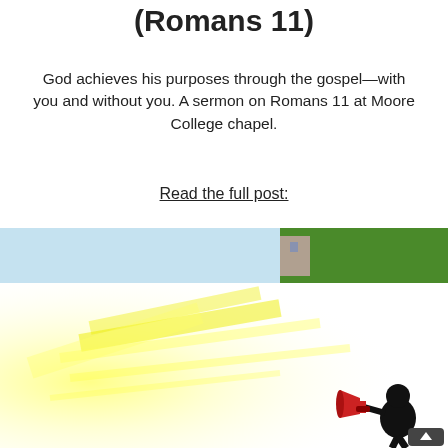(Romans 11)
God achieves his purposes through the gospel—with you and without you. A sermon on Romans 11 at Moore College chapel.
Read the full post:
[Figure (illustration): Top half: a banner image with a light blue sky and green trees with a building visible. Bottom half: a bright yellow/white starburst light effect on the left, and in the bottom right corner a silhouette of a person holding a megaphone (red) with a dark figure and an upward arrow button.]